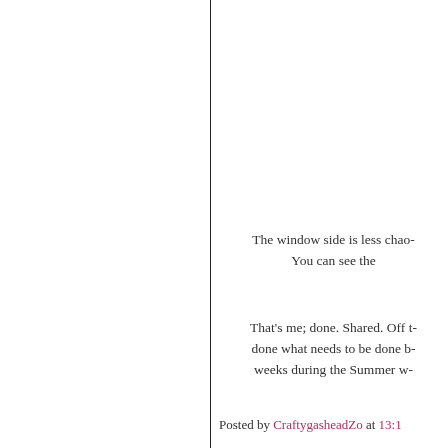The window side is less chao- You can see the
That's me; done. Shared. Off t- done what needs to be done b- weeks during the Summer w-
Posted by CraftygasheadZo at 13:1...